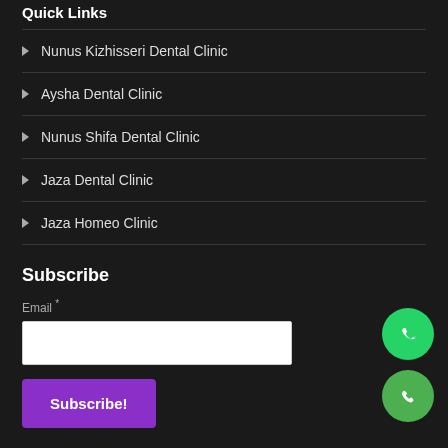Quick Links
Nunus Kizhisseri Dental Clinic
Aysha Dental Clinic
Nunus Shifa Dental Clinic
Jaza Dental Clinic
Jaza Homeo Clinic
Subscribe
Email *
[Figure (other): WhatsApp floating contact icon (green circle with WhatsApp logo)]
[Figure (other): Phone floating contact icon (green circle with phone handset logo)]